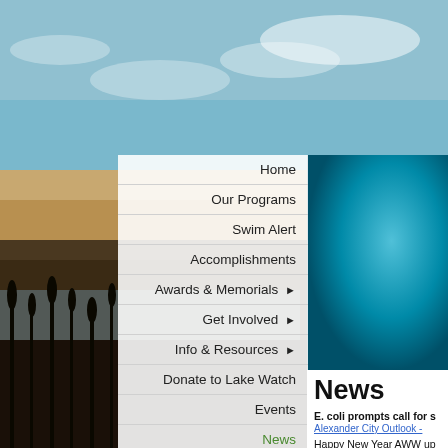[Figure (photo): Lake/water scene at sunset with reeds in foreground, sky with clouds, teal banner image top right]
Home
Our Programs
Swim Alert
Accomplishments
Awards & Memorials ▶
Get Involved ▶
Info & Resources ▶
Donate to Lake Watch
Events
News
Contact
News
E. coli prompts call for s
Alexander City Outlook -
Happy New Year AWW up
http://wp.auburn.edu/aww
How to check your certific
http://wp.auburn.edu/aww